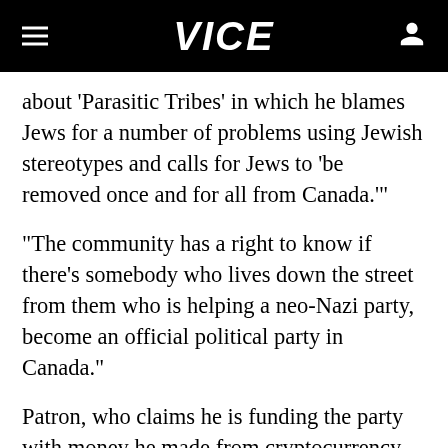VICE
about 'Parasitic Tribes' in which he blames Jews for a number of problems using Jewish stereotypes and calls for Jews to 'be removed once and for all from Canada.'"
“The community has a right to know if there's somebody who lives down the street from them who is helping a neo-Nazi party, become an official political party in Canada.”
Patron, who claims he is funding the party with money he made from cryptocurrency, told CBC he was referring to “globalists” who “go by many